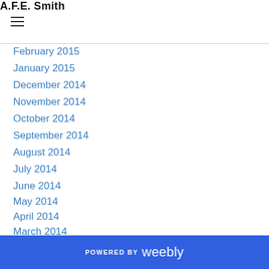A.F.E. Smith
February 2015
January 2015
December 2014
November 2014
October 2014
September 2014
August 2014
July 2014
June 2014
May 2014
April 2014
March 2014
January 2014
December 2013
November 2013
October 2013
POWERED BY weebly